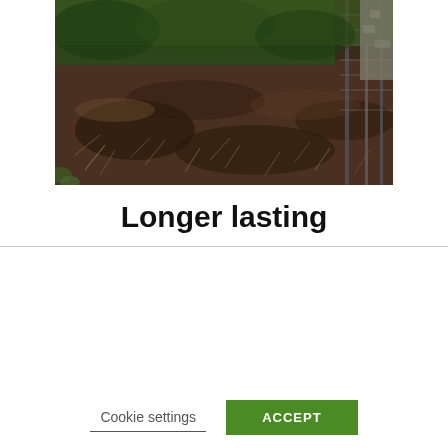[Figure (photo): Photo of a muddy field or garden area with dark soil and sparse dry grass/weeds, with a wire mesh fence visible on the right side, and foliage in the background.]
Longer lasting
We use cookies on our website to give you the most relevant experience by remembering your preferences and repeat visits. By clicking “Accept”, you consent to the use of ALL the cookies. However you may visit Cookie Settings to provide a controlled consent.